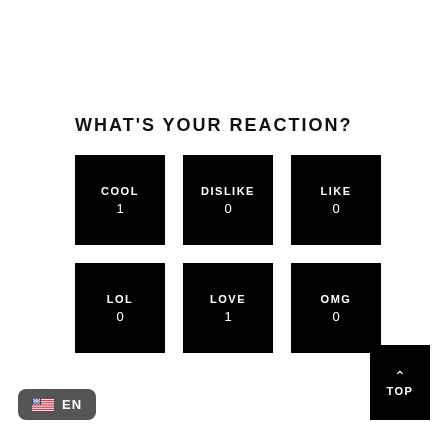WHAT'S YOUR REACTION?
[Figure (infographic): Reaction buttons grid: 7 black square buttons labeled COOL (1), DISLIKE (0), LIKE (0), LOL (0), LOVE (1), OMG (0), WTF (0)]
[Figure (other): TOP scroll-to-top button, black square with upward chevron and text TOP]
[Figure (other): Language selector pill showing US flag and EN text]